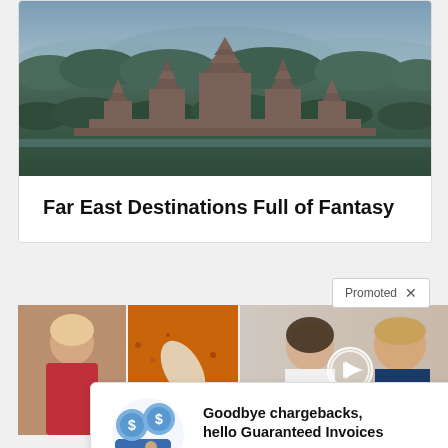[Figure (photo): Aerial photograph of Angkor Wat temple complex in Cambodia, surrounded by dense tropical forest with misty blue sky]
Far East Destinations Full of Fantasy
Promoted ×
[Figure (photo): Two collaged thumbnail images: left shows a woman and spice close-up, right shows two people with a video play button overlay]
[Figure (illustration): InstoBank advertisement illustration showing coins, dollar signs, a credit card, and a person. Text: Goodbye chargebacks, hello Guaranteed Invoices. InstoBank. Try for free.]
Goodbye chargebacks, hello Guaranteed Invoices
InstoBank    Try for free